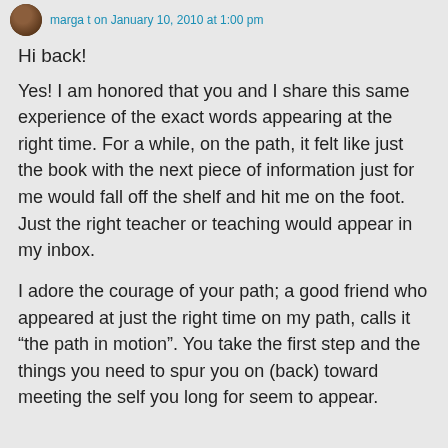marga t on January 10, 2010 at 1:00 pm
Hi back!
Yes! I am honored that you and I share this same experience of the exact words appearing at the right time. For a while, on the path, it felt like just the book with the next piece of information just for me would fall off the shelf and hit me on the foot. Just the right teacher or teaching would appear in my inbox.
I adore the courage of your path; a good friend who appeared at just the right time on my path, calls it “the path in motion”. You take the first step and the things you need to spur you on (back) toward meeting the self you long for seem to appear.